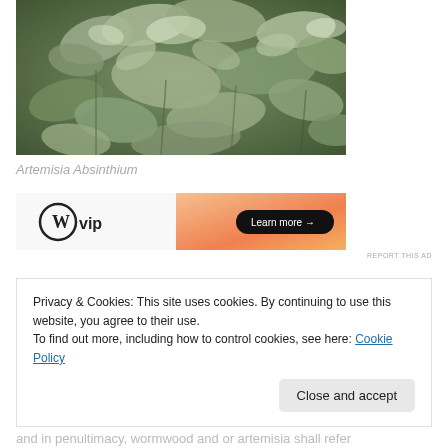[Figure (photo): Close-up photograph of Artemisia Absinthium (wormwood) plant with silvery-green, deeply lobed leaves]
Artemisia Absinthium
[Figure (other): WordPress VIP advertisement banner with 'Learn more' button on orange gradient background]
REPORT THIS AD
Privacy & Cookies: This site uses cookies. By continuing to use this website, you agree to their use.
To find out more, including how to control cookies, see here: Cookie Policy
Close and accept
and in penultimacy, wormwood and or artemisia shall refer